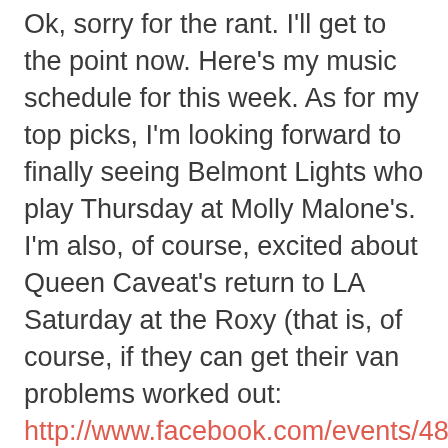Ok, sorry for the rant. I'll get to the point now. Here's my music schedule for this week. As for my top picks, I'm looking forward to finally seeing Belmont Lights who play Thursday at Molly Malone's. I'm also, of course, excited about Queen Caveat's return to LA Saturday at the Roxy (that is, of course, if they can get their van problems worked out: http://www.facebook.com/events/481540455213679/?fref=ts).
The rest of my musical suggestions:
Monday: Sad Robot FREE at Silverlake Lounge (10pm)
ALSO: Nicki Bluhm & The Gramblers at The Troubadour (10pm)